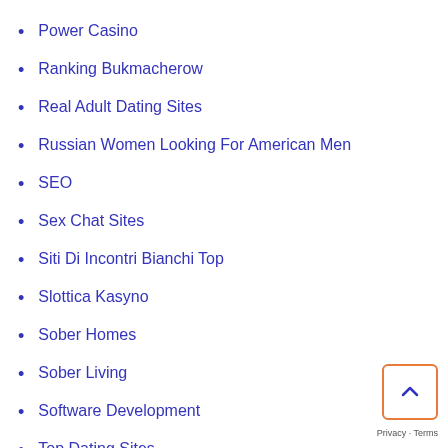Power Casino
Ranking Bukmacherow
Real Adult Dating Sites
Russian Women Looking For American Men
SEO
Sex Chat Sites
Siti Di Incontri Bianchi Top
Slottica Kasyno
Sober Homes
Sober Living
Software Development
Top Dating Sites
Top Sex Sites
Tophookupdatingsites.Net Top Hookup Dating Sites
Uncategorized